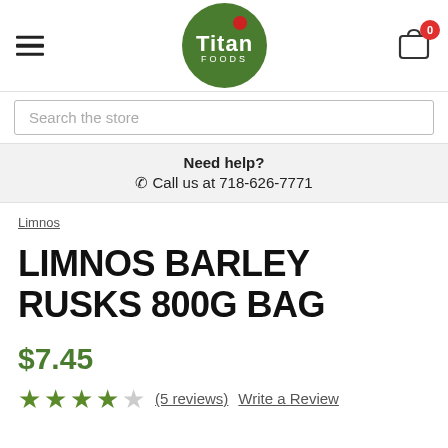Titan Foods
Search the store
Need help?
☎ Call us at 718-626-7771
Limnos
LIMNOS BARLEY RUSKS 800G BAG
$7.45
★★★★☆ (5 reviews) Write a Review